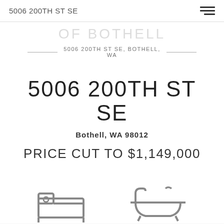5006 200TH ST SE
OF BOTHELL
5006 200TH ST SE, BOTHELL, WA
5006 200TH ST SE
Bothell, WA 98012
PRICE CUT TO $1,149,000
[Figure (illustration): Bed icon (bedroom count icon) and bathtub icon (bathroom count icon) shown at bottom of listing card]